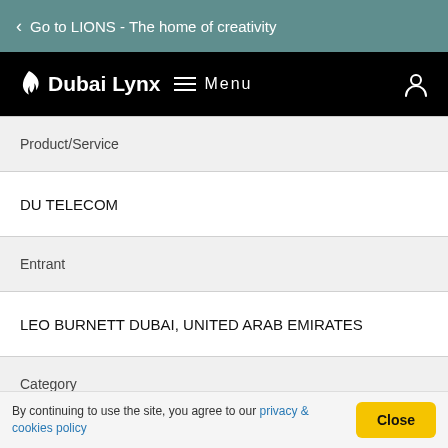Go to LIONS - The home of creativity
Dubai Lynx  Menu
Product/Service
DU TELECOM
Entrant
LEO BURNETT DUBAI, UNITED ARAB EMIRATES
Category
Production Design / Art Direction
Idea Creation
By continuing to use the site, you agree to our privacy & cookies policy